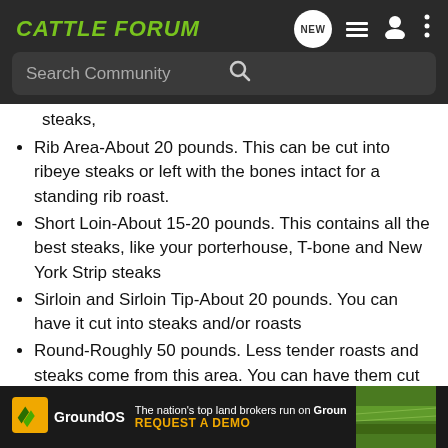CATTLE FORUM
steaks,
Rib Area-About 20 pounds. This can be cut into ribeye steaks or left with the bones intact for a standing rib roast.
Short Loin-About 15-20 pounds. This contains all the best steaks, like your porterhouse, T-bone and New York Strip steaks
Sirloin and Sirloin Tip-About 20 pounds. You can have it cut into steaks and/or roasts
Round-Roughly 50 pounds. Less tender roasts and steaks come from this area. You can have them cut into cube steaks, London broil or roasts.
Brisket-About 12 pounds. You can leave it whole for smoking or roasting, or have it ground into hamburger
M[...] will be o[...] s all of th[...] lse
[Figure (infographic): GroundOS advertisement banner: The nation's top land brokers run on GroundOS. REQUEST A DEMO]